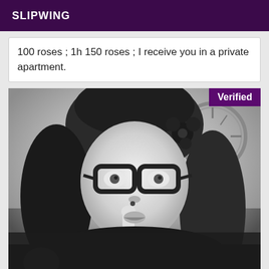SLIPWING
100 roses ; 1h 150 roses ; I receive you in a private apartment.
[Figure (photo): Black and white photo of a young woman with glasses, long dark hair, wearing a flower hair accessory, holding a finger to her lips in a shushing gesture. A decorative clock is visible in the background. A 'Verified' badge appears in the top-right corner.]